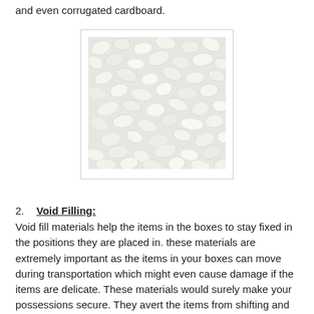and even corrugated cardboard.
[Figure (photo): Close-up photo of white packing peanuts (foam void fill material), showing a large pile of irregular shaped foam pieces.]
2. Void Filling:
Void fill materials help the items in the boxes to stay fixed in the positions they are placed in. these materials are extremely important as the items in your boxes can move during transportation which might even cause damage if the items are delicate. These materials would surely make your possessions secure. They avert the items from shifting and